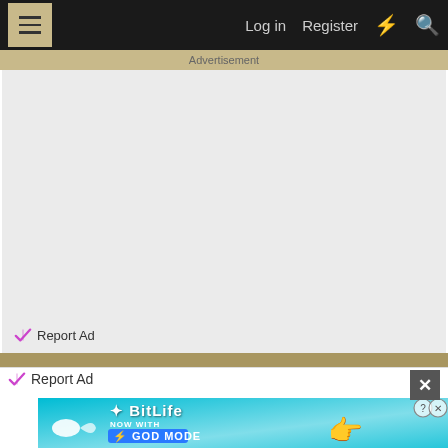Log in  Register
Advertisement
Report Ad
Report Ad
[Figure (screenshot): BitLife NOW WITH GOD MODE advertisement banner with sperm mascot and hand pointing icon on cyan/blue gradient background]